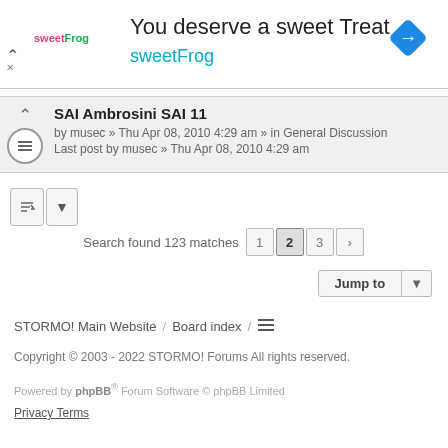[Figure (infographic): SweetFrog advertisement banner with logo, tagline 'You deserve a sweet Treat', and navigation arrow icon]
SAI Ambrosini SAI 11
by musec » Thu Apr 08, 2010 4:29 am » in General Discussion
Last post by musec » Thu Apr 08, 2010 4:29 am
Search found 123 matches
Jump to
STORMO! Main Website / Board index /
Copyright © 2003 - 2022 STORMO! Forums All rights reserved.
Powered by phpBB® Forum Software © phpBB Limited
Privacy Terms